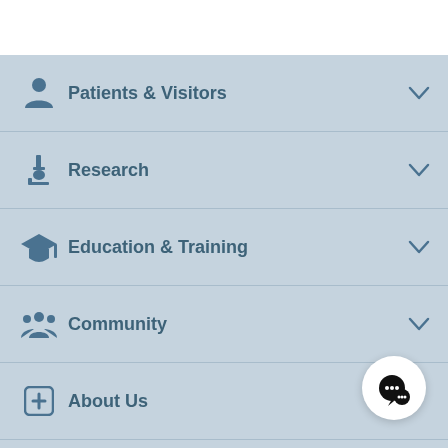Patients & Visitors
Research
Education & Training
Community
About Us
Contact Montefiore
Clinical Services A-Z
Manage Your Health Online
Donate Now
[Figure (illustration): Chat/messaging button icon (speech bubble with dots)]